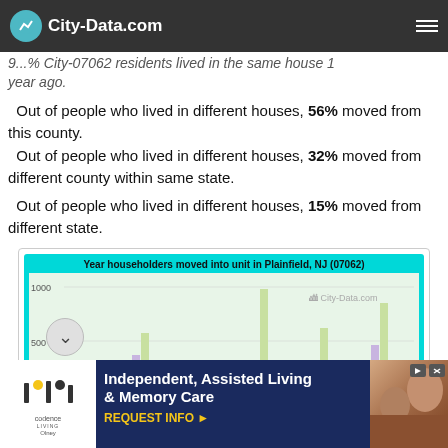City-Data.com
9...% City-07062 residents lived in the same house 1 year ago.
Out of people who lived in different houses, 56% moved from this county.
Out of people who lived in different houses, 32% moved from different county within same state.
Out of people who lived in different houses, 15% moved from different state.
[Figure (bar-chart): Year householders moved into unit in Plainfield, NJ (07062)]
Independent, Assisted Living & Memory Care REQUEST INFO